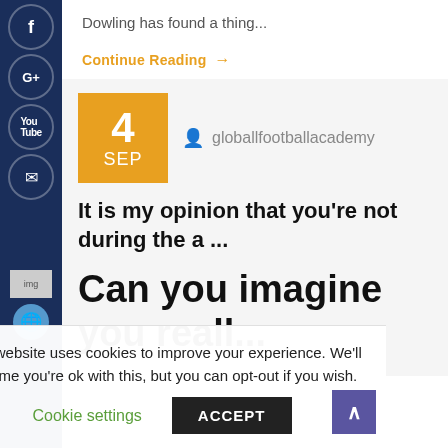Dowling has found a thing...
Continue Reading →
4 SEP
globallfootballacademy
It is my opinion that you're not during the a ...
Can you imagine you reall...
This website uses cookies to improve your experience. We'll assume you're ok with this, but you can opt-out if you wish.
Cookie settings
ACCEPT